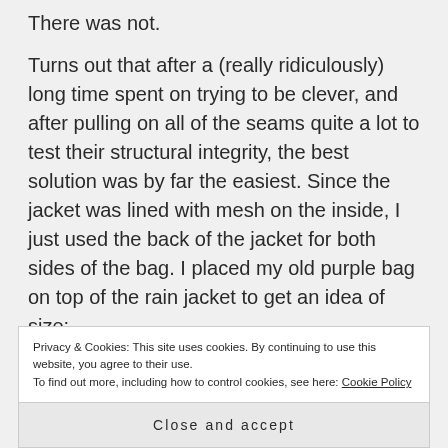There was not.
Turns out that after a (really ridiculously) long time spent on trying to be clever, and after pulling on all of the seams quite a lot to test their structural integrity, the best solution was by far the easiest. Since the jacket was lined with mesh on the inside, I just used the back of the jacket for both sides of the bag. I placed my old purple bag on top of the rain jacket to get an idea of size:
Privacy & Cookies: This site uses cookies. By continuing to use this website, you agree to their use.
To find out more, including how to control cookies, see here: Cookie Policy
Close and accept